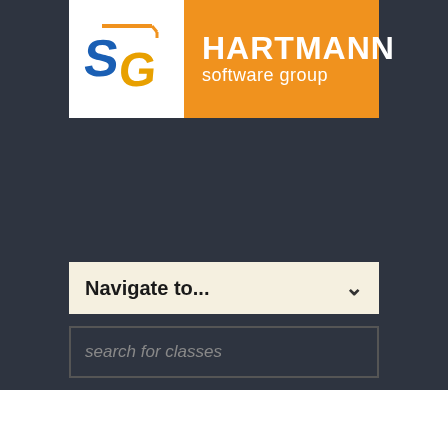[Figure (logo): Hartmann Software Group logo with stylized S-G letters in a cube and orange text block]
Navigate to...
search for classes
Home → Training → → Sugar-Land-Texas → Project Management Principles for IT Professionals